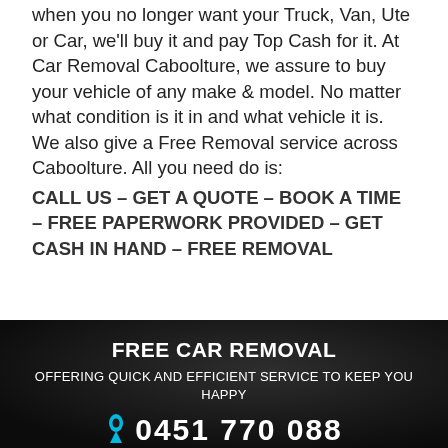when you no longer want your Truck, Van, Ute or Car, we'll buy it and pay Top Cash for it. At Car Removal Caboolture, we assure to buy your vehicle of any make & model. No matter what condition is it in and what vehicle it is. We also give a Free Removal service across Caboolture. All you need do is:
CALL US – GET A QUOTE – BOOK A TIME – FREE PAPERWORK PROVIDED – GET CASH IN HAND – FREE REMOVAL
FREE CAR REMOVAL
OFFERING QUICK AND EFFICIENT SERVICE TO KEEP YOU HAPPY
0451 770 088